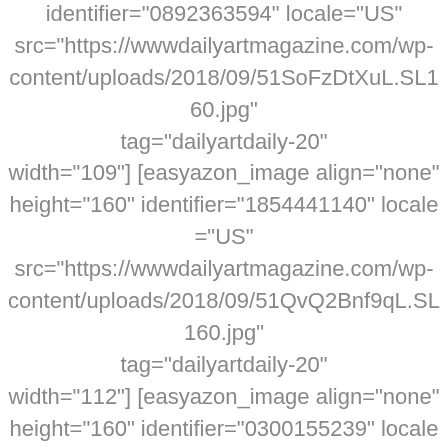identifier="0892363594" locale="US" src="https://wwwdailyartmagazine.com/wp-content/uploads/2018/09/51SoFzDtXuL.SL160.jpg" tag="dailyartdaily-20" width="109"] [easyazon_image align="none" height="160" identifier="1854441140" locale="US" src="https://wwwdailyartmagazine.com/wp-content/uploads/2018/09/51QvQ2Bnf9qL.SL160.jpg" tag="dailyartdaily-20" width="112"] [easyazon_image align="none" height="160" identifier="0300155239" locale="US" src="https://wwwdailyartmagazine.com/wp-content/uploads/2018/09/51pzLeGcvpL.SL160.jpg" tag="dailyartdaily-20" width="124"] [easyazon_image align="none" height="160" identifier="0521376793" locale="US" src="https://wwwdailyartmagazine.com/wp-content/uploads/2018/09/5126oZx8GWL.SL160.jpg" tag="dailyartdaily-20" width="104"]